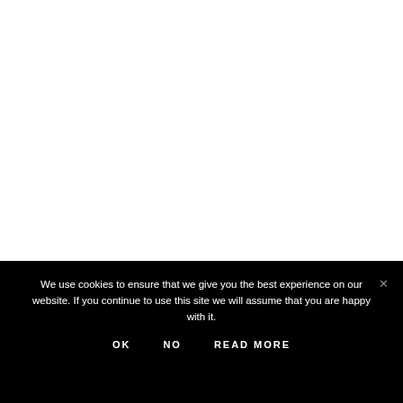We use cookies to ensure that we give you the best experience on our website. If you continue to use this site we will assume that you are happy with it.
OK   NO   READ MORE